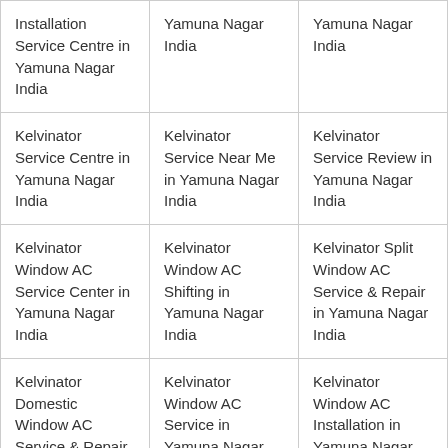| Installation Service Centre in Yamuna Nagar India | Yamuna Nagar India | Yamuna Nagar India |
| Kelvinator Service Centre in Yamuna Nagar India | Kelvinator Service Near Me in Yamuna Nagar India | Kelvinator Service Review in Yamuna Nagar India |
| Kelvinator Window AC Service Center in Yamuna Nagar India | Kelvinator Window AC Shifting in Yamuna Nagar India | Kelvinator Split Window AC Service & Repair in Yamuna Nagar India |
| Kelvinator Domestic Window AC Service & Repair in Yamuna Nagar India | Kelvinator Window AC Service in Yamuna Nagar India | Kelvinator Window AC Installation in Yamuna Nagar India |